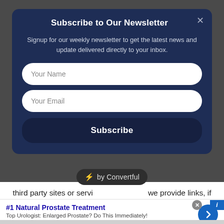Subscribe to Our Newsletter
Signup for our weekly newsletter to get the latest news and update delivered directly to your inbox.
Your Name
Your Email
Subscribe
[Figure (screenshot): Convertful badge overlay showing a lightning bolt icon and 'by Convertful' text on a dark pill-shaped background]
third party sites or services we provide links, if any. Please be aware that if you click on an advertisement or third party link, you will be subject to the third party's privacy policy.
[Figure (screenshot): Advertisement banner: #1 Natural Prostate Treatment - Top Urologist: Enlarged Prostate? Do This Immediately! healthreport4u.com with a blue circular arrow button on the right, and close/info icons at top right]